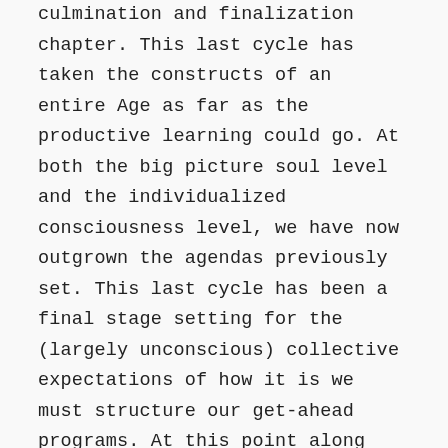culmination and finalization chapter. This last cycle has taken the constructs of an entire Age as far as the productive learning could go. At both the big picture soul level and the individualized consciousness level, we have now outgrown the agendas previously set. This last cycle has been a final stage setting for the (largely unconscious) collective expectations of how it is we must structure our get-ahead programs. At this point along the collective soul's timeline, perpetuating more of the same allows for no further growth, and in fact, advances degeneration and decay. We can readily see that the standards that have been put in place are no longer working nor workable.
The next 19 year cycle is a Venus ruled chapter. Evolutionary astrology correlates planet Venus to